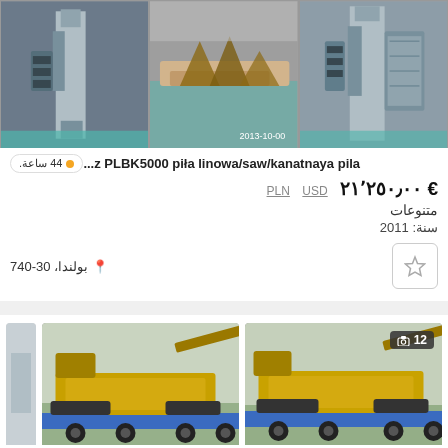[Figure (photo): Three photos of industrial stone cutting saw machine PLBK5000 inside a workshop]
...z PLBK5000 piła linowa/saw/kanatnaya pila
44 ساعة.
€ ٢١٬٢٥٠٫٠٠   PLN   USD
متنوعات
سنة: 2011
بولندا، 30-740
[Figure (photo): Two photos of a large yellow tracked drilling/boring machine on a flatbed trailer, second photo shows badge with camera icon and count 12]